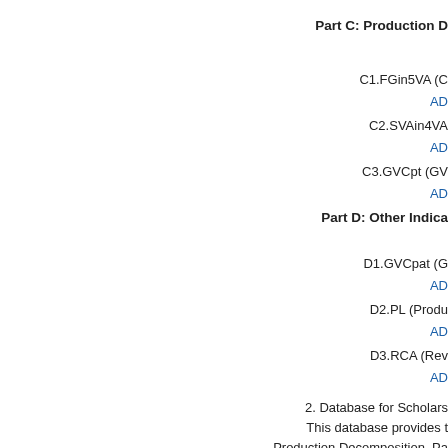Part C: Production D...
C1.FGin5VA (C...
AD...
C2.SVAin4VA...
AD...
C3.GVCpt (GV...
AD...
Part D: Other Indica...
D1.GVCpat (G...
AD...
D2.PL (Produ...
AD...
D3.RCA (Rev...
AD...
2. Database for Scholars
This database provides t...
Production Decomposition, Pa...